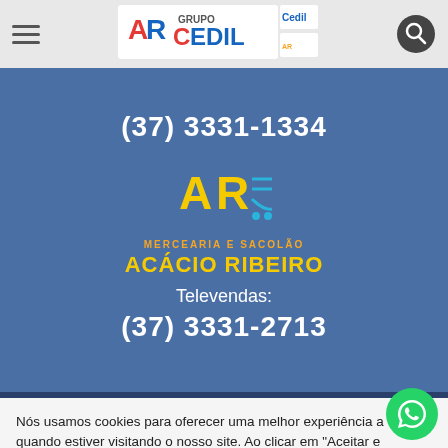[Figure (logo): Grupo Cedil logo with Cedil supermarket and AR Acácio Ribeiro sub-brands]
(37) 3331-1334
[Figure (logo): AR Mercearia e Sacolão Acácio Ribeiro logo with shopping cart icon]
MERCEARIA E SACOLÃO
ACÁCIO RIBEIRO
Televendas:
(37) 3331-2713
Nós usamos cookies para oferecer uma melhor experiência a você quando estiver visitando o nosso site. Ao clicar em "Aceitar e Fechar", você concorda com o uso dos cookies e termos descritos na no
Política de privacidade
Aceitar e Fechar